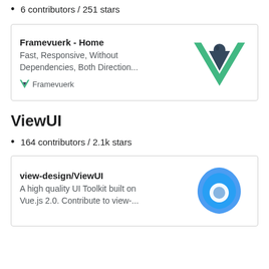6 contributors / 251 stars
[Figure (screenshot): Card showing Framevuerk - Home with description 'Fast, Responsive, Without Dependencies, Both Direction...' and Vue.js logo on the right]
ViewUI
164 contributors / 2.1k stars
[Figure (screenshot): Card showing view-design/ViewUI with description 'A high quality UI Toolkit built on Vue.js 2.0. Contribute to view-...' and blue diamond logo on the right]